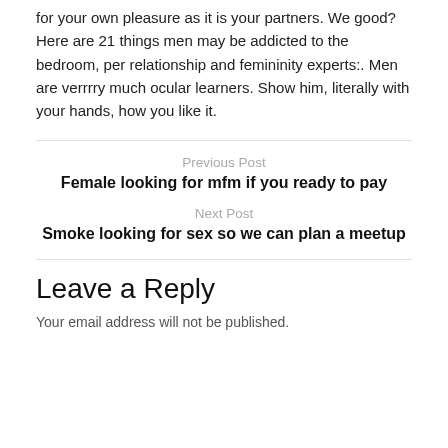for your own pleasure as it is your partners. We good? Here are 21 things men may be addicted to the bedroom, per relationship and femininity experts:. Men are verrrry much ocular learners. Show him, literally with your hands, how you like it.
Previous Post
Female looking for mfm if you ready to pay
Next Post
Smoke looking for sex so we can plan a meetup
Leave a Reply
Your email address will not be published.